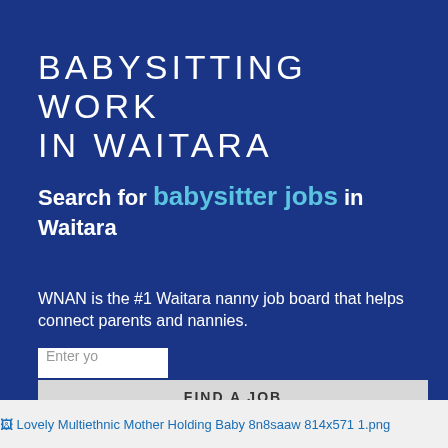BABYSITTING WORK IN WAITARA
Search for babysitter jobs in Waitara
WNAN is the #1 Waitara nanny job board that helps connect parents and nannies.
Enter yo
FIND A JOB
[Figure (photo): Broken image placeholder: Lovely Multiethnic Mother Holding Baby 8n8saaw 814x571 1.png]